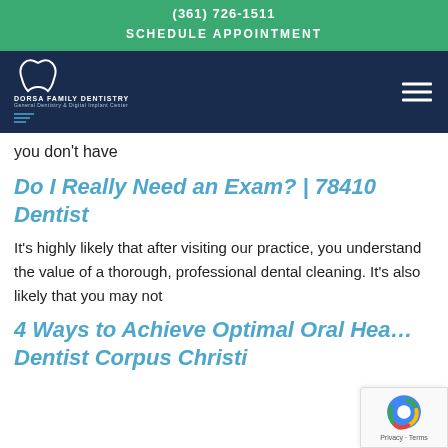(361) 726-1511
SCHEDULE APPOINTMENT
[Figure (logo): Dorsa Family Dentistry logo with tooth icon, name and tagline 'General Dentistry & Digital Implant Center']
you don't have
Do I Really Need an Exam? | 78410 Dentist
It's highly likely that after visiting our practice, you understand the value of a thorough, professional dental cleaning. It's also likely that you may not
4 Ways to Achieve Optimal Oral Hea... Dentist Corpus Christi